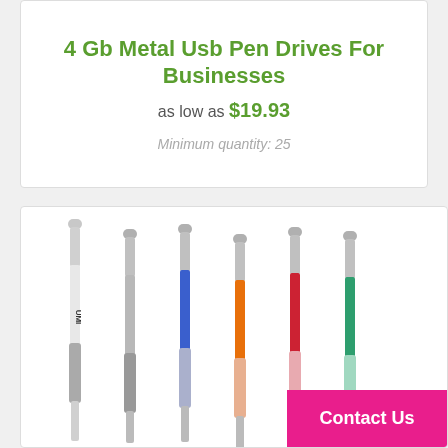4 Gb Metal Usb Pen Drives For Businesses
as low as $19.93
Minimum quantity: 25
[Figure (photo): Six metal USB pen drives shown side by side in various colors: silver, gray, blue, orange, red, and green, each with silver accents and rubber grip sections.]
Contact Us